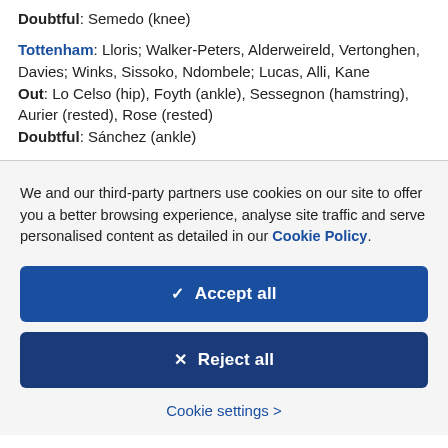Doubtful: Semedo (knee)
Tottenham: Lloris; Walker-Peters, Alderweireld, Vertonghen, Davies; Winks, Sissoko, Ndombele; Lucas, Alli, Kane
Out: Lo Celso (hip), Foyth (ankle), Sessegnon (hamstring), Aurier (rested), Rose (rested)
Doubtful: Sánchez (ankle)
We and our third-party partners use cookies on our site to offer you a better browsing experience, analyse site traffic and serve personalised content as detailed in our Cookie Policy.
Accept all
Reject all
Cookie settings >